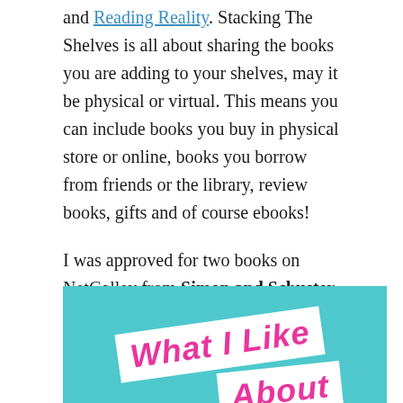and Reading Reality. Stacking The Shelves is all about sharing the books you are adding to your shelves, may it be physical or virtual. This means you can include books you buy in physical store or online, books you borrow from friends or the library, review books, gifts and of course ebooks!
I was approved for two books on NetGalley from Simon and Schuster Canada:
[Figure (illustration): Book cover image with teal/turquoise background featuring two white label stickers with pink bold italic text reading 'What I Like' and 'About']